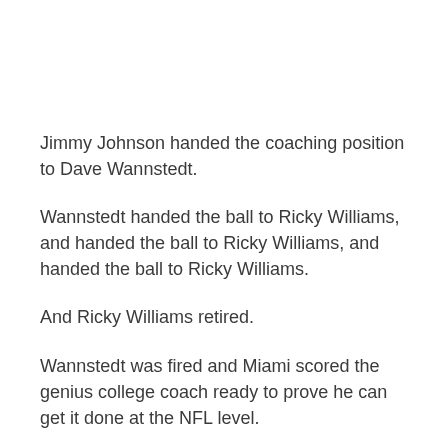Jimmy Johnson handed the coaching position to Dave Wannstedt.
Wannstedt handed the ball to Ricky Williams, and handed the ball to Ricky Williams, and handed the ball to Ricky Williams.
And Ricky Williams retired.
Wannstedt was fired and Miami scored the genius college coach ready to prove he can get it done at the NFL level.